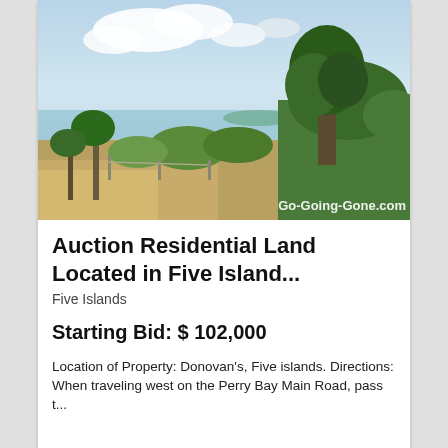[Figure (photo): Outdoor landscape photo showing trees, scrubland, and a distant water view under a partly cloudy sky. A watermark reads 'Go-Going-Gone.com' in the bottom right corner.]
Auction Residential Land Located in Five Island...
Five Islands
Starting Bid: $ 102,000
Location of Property: Donovan's, Five islands. Directions: When traveling west on the Perry Bay Main Road, pass t...